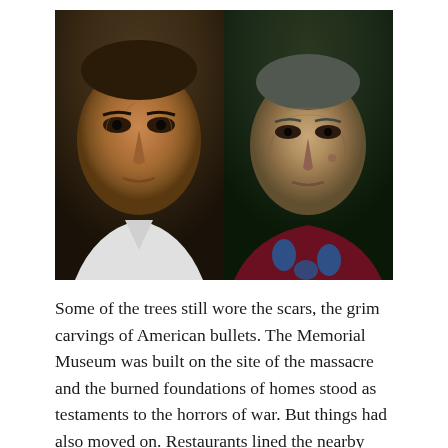[Figure (photo): Two portrait photographs side by side: on the left, a middle-aged Southeast Asian man with weathered skin looking directly at camera; on the right, an elderly Southeast Asian woman with deeply wrinkled face looking at camera.]
Some of the trees still wore the scars, the grim carvings of American bullets. The Memorial Museum was built on the site of the massacre and the burned foundations of homes stood as testaments to the horrors of war. But things had also moved on. Restaurants lined the nearby waterfront and men drove the [text continues below]